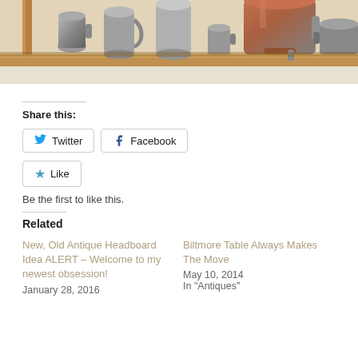[Figure (photo): Photo of pewter/silver mugs and pitchers on a wooden shelf, partially cropped at top]
Share this:
Twitter  Facebook
Like  Be the first to like this.
Related
New, Old Antique Headboard Idea ALERT – Welcome to my newest obsession!
January 28, 2016
Biltmore Table Always Makes The Move
May 10, 2014
In "Antiques"